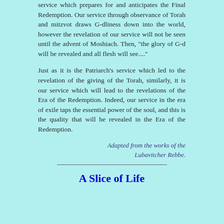service which prepares for and anticipates the Final Redemption. Our service through observance of Torah and mitzvot draws G-dliness down into the world, however the revelation of our service will not be seen until the advent of Moshiach. Then, "the glory of G-d will be revealed and all flesh will see...."
Just as it is the Patriarch's service which led to the revelation of the giving of the Torah, similarly, it is our service which will lead to the revelations of the Era of the Redemption. Indeed, our service in the era of exile taps the essential power of the soul, and this is the quality that will be revealed in the Era of the Redemption.
Adapted from the works of the Lubavitcher Rebbe.
A Slice of Life